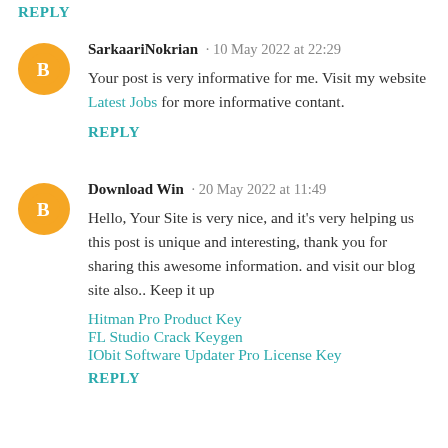REPLY
SarkaariNokrian · 10 May 2022 at 22:29
Your post is very informative for me. Visit my website Latest Jobs for more informative contant.
REPLY
Download Win · 20 May 2022 at 11:49
Hello, Your Site is very nice, and it's very helping us this post is unique and interesting, thank you for sharing this awesome information. and visit our blog site also.. Keep it up
Hitman Pro Product Key
FL Studio Crack Keygen
IObit Software Updater Pro License Key
REPLY